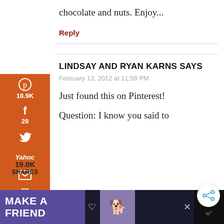chocolate and nuts. Enjoy...
Reply
LINDSAY AND RYAN KARNS SAYS
February 13, 2012 at 11:59 PM
Just found this on Pinterest!
Question: I know you said to
[Figure (screenshot): Social sharing sidebar with Pinterest (18.9K), Facebook (29), Twitter, Yahoo, Email, and Print icons on orange background. Total shares shown as 19.0K SHARES at bottom.]
[Figure (screenshot): Advertisement banner at bottom: purple background with 'MAKE A FRIEND' text, dog image, heart icon, and close buttons.]